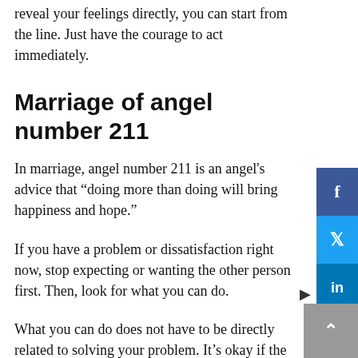reveal your feelings directly, you can start from the line. Just have the courage to act immediately.
Marriage of angel number 211
In marriage, angel number 211 is an angel's advice that “doing more than doing will bring happiness and hope.”
If you have a problem or dissatisfaction right now, stop expecting or wanting the other person first. Then, look for what you can do.
What you can do does not have to be directly related to solving your problem. It’s okay if the other person will be happy or